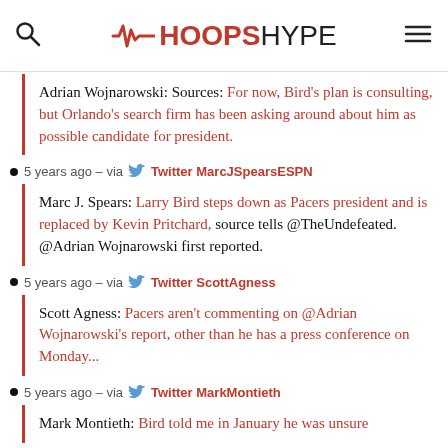HoopsHype
Adrian Wojnarowski: Sources: For now, Bird's plan is consulting, but Orlando's search firm has been asking around about him as possible candidate for president.
5 years ago – via  Twitter MarcJSpearsESPN
Marc J. Spears: Larry Bird steps down as Pacers president and is replaced by Kevin Pritchard, source tells @TheUndefeated. @Adrian Wojnarowski first reported.
5 years ago – via  Twitter ScottAgness
Scott Agness: Pacers aren't commenting on @Adrian Wojnarowski's report, other than he has a press conference on Monday...
5 years ago – via  Twitter MarkMontieth
Mark Montieth: Bird told me in January he was unsure